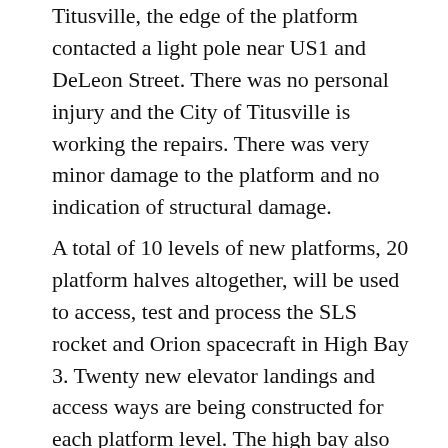Titusville, the edge of the platform contacted a light pole near US1 and DeLeon Street. There was no personal injury and the City of Titusville is working the repairs. There was very minor damage to the platform and no indication of structural damage.
A total of 10 levels of new platforms, 20 platform halves altogether, will be used to access, test and process the SLS rocket and Orion spacecraft in High Bay 3. Twenty new elevator landings and access ways are being constructed for each platform level. The high bay also will accommodate the 355-foot-tall mobile launcher tower that will carry the rocket and spacecraft atop the crawler-transporter to Launch Pad 39B.